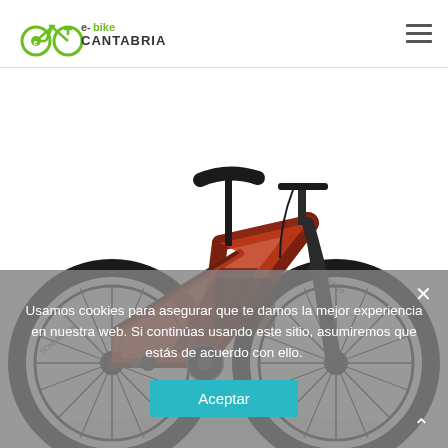[Figure (logo): e-bike Cantabria logo with green bicycle icon and green/dark text]
[Figure (photo): Red/orange mountain bike (Scott brand) on white background, partial view showing full bike with large tires]
Usamos cookies para asegurar que te damos la mejor experiencia en nuestra web. Si continúas usando este sitio, asumiremos que estás de acuerdo con ello.
Aceptar